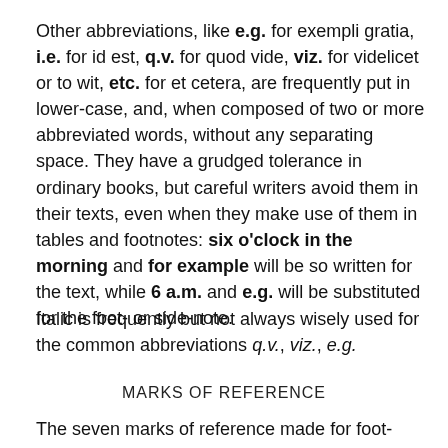Other abbreviations, like e.g. for exempli gratia, i.e. for id est, q.v. for quod vide, viz. for videlicet or to wit, etc. for et cetera, are frequently put in lower-case, and, when composed of two or more abbreviated words, without any separating space. They have a grudged tolerance in ordinary books, but careful writers avoid them in their texts, even when they make use of them in tables and footnotes: six o'clock in the morning and for example will be so written for the text, while 6 a.m. and e.g. will be substituted for the foot- or side-note.
Italic is frequently but not always wisely used for the common abbreviations q.v., viz., e.g.
MARKS OF REFERENCE
The seven marks of reference made for foot-notes * †